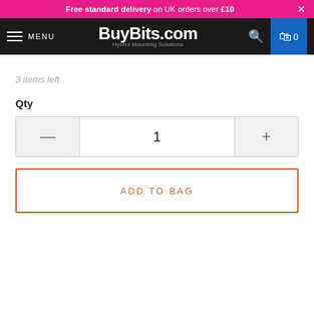Free standard delivery on UK orders over £10
[Figure (screenshot): BuyBits.com navigation bar with hamburger menu, logo, search icon, and shopping bag with 0 items]
3 items left
Qty
1
ADD TO BAG